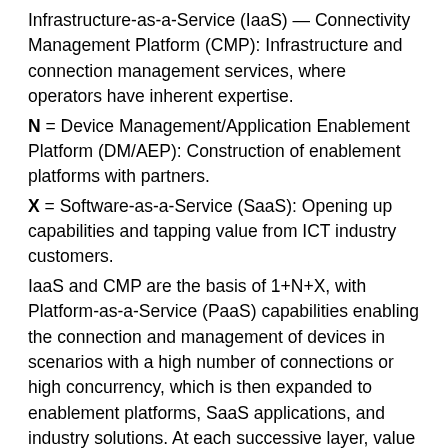Infrastructure-as-a-Service (IaaS) — Connectivity Management Platform (CMP): Infrastructure and connection management services, where operators have inherent expertise.
N = Device Management/Application Enablement Platform (DM/AEP): Construction of enablement platforms with partners.
X = Software-as-a-Service (SaaS): Opening up capabilities and tapping value from ICT industry customers.
IaaS and CMP are the basis of 1+N+X, with Platform-as-a-Service (PaaS) capabilities enabling the connection and management of devices in scenarios with a high number of connections or high concurrency, which is then expanded to enablement platforms, SaaS applications, and industry solutions. At each successive layer, value from IoT increases.
Six Telecom Business Models for